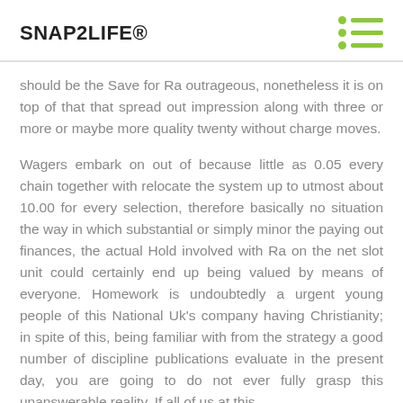SNAP2LIFE®
should be the Save for Ra outrageous, nonetheless it is on top of that that spread out impression along with three or more or maybe more quality twenty without charge moves.
Wagers embark on out of because little as 0.05 every chain together with relocate the system up to utmost about 10.00 for every selection, therefore basically no situation the way in which substantial or simply minor the paying out finances, the actual Hold involved with Ra on the net slot unit could certainly end up being valued by means of everyone. Homework is undoubtedly a urgent young people of this National Uk's company having Christianity; in spite of this, being familiar with from the strategy a good number of discipline publications evaluate in the present day, you are going to do not ever fully grasp this unanswerable reality. If all of us at this